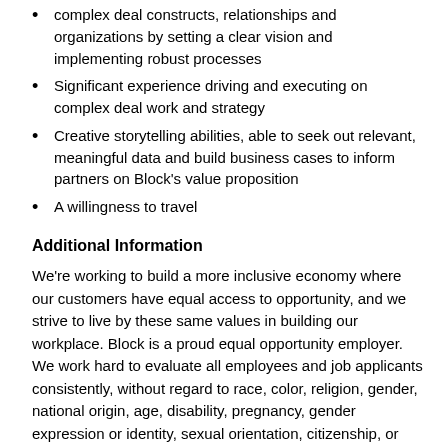complex deal constructs, relationships and organizations by setting a clear vision and implementing robust processes
Significant experience driving and executing on complex deal work and strategy
Creative storytelling abilities, able to seek out relevant, meaningful data and build business cases to inform partners on Block's value proposition
A willingness to travel
Additional Information
We're working to build a more inclusive economy where our customers have equal access to opportunity, and we strive to live by these same values in building our workplace. Block is a proud equal opportunity employer. We work hard to evaluate all employees and job applicants consistently, without regard to race, color, religion, gender, national origin, age, disability, pregnancy, gender expression or identity, sexual orientation, citizenship, or any other legally protected class.
We believe in being fair, and are committed to an inclusive interview experience, including providing reasonable...